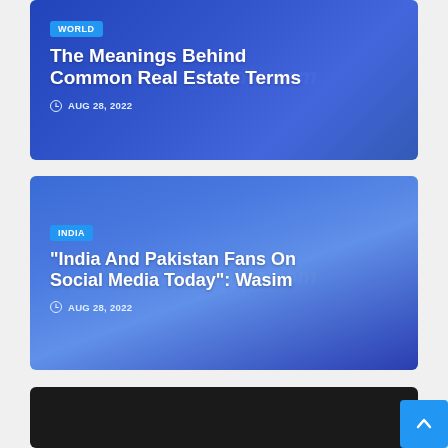[Figure (screenshot): Card 1: Article card with blue/indigo gradient background, WORLD category badge, title 'The Meanings Behind Common Real Estate Terms', date AUG 28, 2022, with strangeindia.com watermark]
The Meanings Behind Common Real Estate Terms
AUG 28, 2022
[Figure (screenshot): Card 2: Article card with blue gradient background, INDIA category badge, title '“India And Pakistan Fans On Social Media Today”: Wasim', date AUG 28, 2022, with strangeindia.com watermark]
“India And Pakistan Fans On Social Media Today”: Wasim
AUG 28, 2022
[Figure (screenshot): Card 3: Dark/black article card, partially visible at bottom]